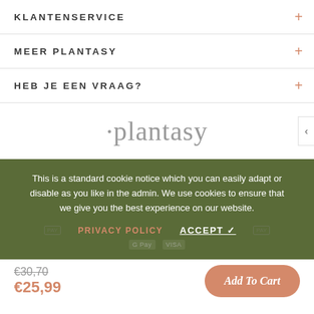KLANTENSERVICE
MEER PLANTASY
HEB JE EEN VRAAG?
[Figure (logo): Plantasy brand logo in grey serif font with dot preceding text]
This is a standard cookie notice which you can easily adapt or disable as you like in the admin. We use cookies to ensure that we give you the best experience on our website.
PRIVACY POLICY   ACCEPT ✓
€30,70
€25,99
Add To Cart